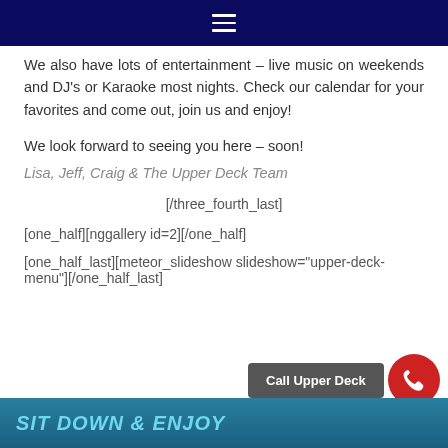≡
We also have lots of entertainment – live music on weekends and DJ's or Karaoke most nights. Check our calendar for your favorites and come out, join us and enjoy!
We look forward to seeing you here – soon!
Lisa, Jeff, Craig & The Upper Deck Team
[/three_fourth_last]
[one_half][nggallery id=2][/one_half]
[one_half_last][meteor_slideshow slideshow="upper-deck-menu"][/one_half_last]
SIT DOWN & ENJOY